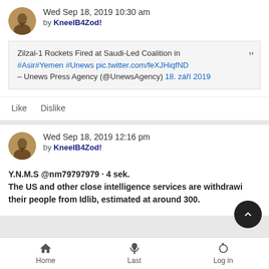Wed Sep 18, 2019 10:30 am by KneelB4Zod!
Zilzal-1 Rockets Fired at Saudi-Led Coalition in #Asir#Yemen #Unews pic.twitter.com/feXJHiqfND – Unews Press Agency (@UnewsAgency) 18. září 2019
Like | Dislike
Wed Sep 18, 2019 12:16 pm by KneelB4Zod!
Y.N.M.S @nm79797979 · 4 sek. The US and other close intelligence services are withdrawing their people from Idlib, estimated at around 300.